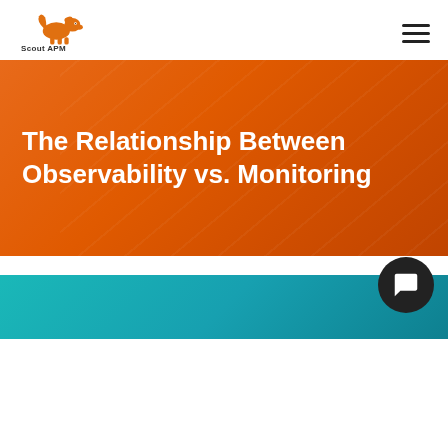Scout APM
[Figure (illustration): Orange hero banner with diagonal texture overlay containing article title text: The Relationship Between Observability vs. Monitoring]
The Relationship Between Observability vs. Monitoring
[Figure (illustration): Teal/cyan gradient image strip at bottom of page with a chat widget button (dark circle with speech bubble icon) in the lower right corner]